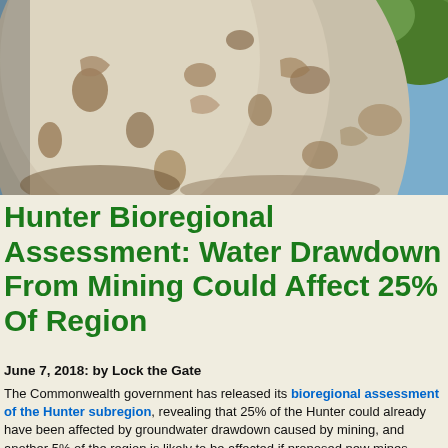[Figure (photo): Close-up photograph of a large light-colored tree trunk (likely a eucalyptus or gum tree) taken from a low angle looking up. The bark has patches of brown and the background shows blue sky and green foliage in the upper right corner.]
Hunter Bioregional Assessment: Water Drawdown From Mining Could Affect 25% Of Region
June 7, 2018: by Lock the Gate
The Commonwealth government has released its bioregional assessment of the Hunter subregion, revealing that 25% of the Hunter could already have been affected by groundwater drawdown caused by mining, and another 5% of the region is likely to be affected if proposed new mines proceed.